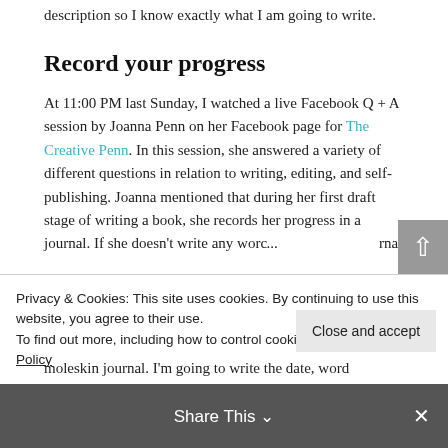description so I know exactly what I am going to write.
Record your progress
At 11:00 PM last Sunday, I watched a live Facebook Q + A session by Joanna Penn on her Facebook page for The Creative Penn. In this session, she answered a variety of different questions in relation to writing, editing, and self-publishing. Joanna mentioned that during her first draft stage of writing a book, she records her progress in a journal. If she doesn't write any wor... ...rnal
Privacy & Cookies: This site uses cookies. By continuing to use this website, you agree to their use.
To find out more, including how to control cookies, see here: Cookie Policy
Close and accept
Share This
moleskin journal. I'm going to write the date, word